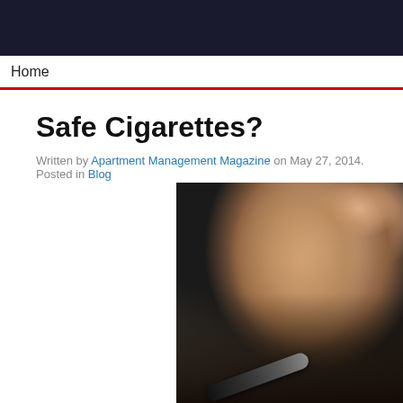Home
Safe Cigarettes?
Written by Apartment Management Magazine on May 27, 2014. Posted in Blog
[Figure (photo): Close-up photo of a bearded man smoking an e-cigarette, holding the device to his mouth, with blurred background]